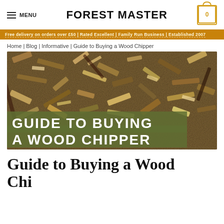MENU | FOREST MASTER | 0
Home | Blog | Informative | Guide to Buying a Wood Chipper
[Figure (photo): Close-up photo of wood chips/mulch with bold white text overlay reading 'GUIDE TO BUYING A WOOD CHIPPER' on an olive-green semi-transparent banner]
Guide to Buying a Wood Chi...